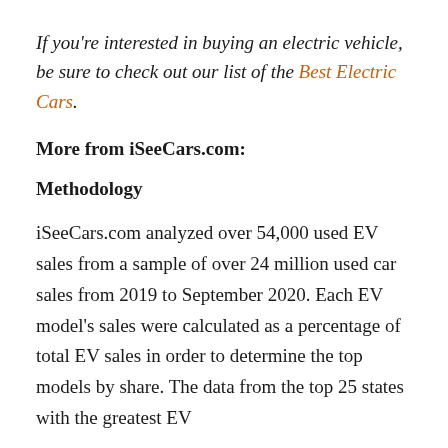If you're interested in buying an electric vehicle, be sure to check out our list of the Best Electric Cars.
More from iSeeCars.com:
Methodology
iSeeCars.com analyzed over 54,000 used EV sales from a sample of over 24 million used car sales from 2019 to September 2020. Each EV model's sales were calculated as a percentage of total EV sales in order to determine the top models by share. The data from the top 25 states with the greatest EV